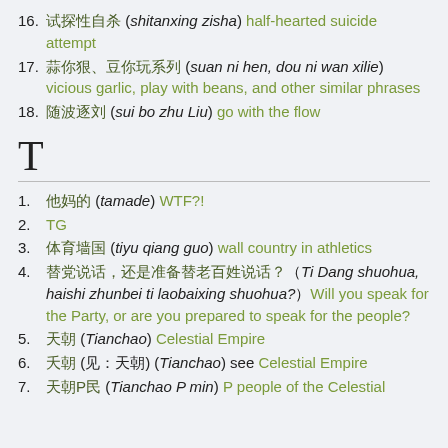16. 试探性自杀 (shitanxing zisha) half-hearted suicide attempt
17. 蒜你狠、豆你玩系列 (suan ni hen, dou ni wan xilie) vicious garlic, play with beans, and other similar phrases
18. 随波逐刘 (sui bo zhu Liu) go with the flow
T
1. 他妈的 (tamade) WTF?!
2. TG
3. 体育墙国 (tiyu qiang guo) wall country in athletics
4. 替党说话，还是准备替老百姓说话？(Ti Dang shuohua, haishi zhunbei ti laobaixing shuohua?) Will you speak for the Party, or are you prepared to speak for the people?
5. 天朝 (Tianchao) Celestial Empire
6. 夭朝 (见：天朝) (Tianchao) see Celestial Empire
7. 天朝P民 (Tianchao P min) P people of the Celestial